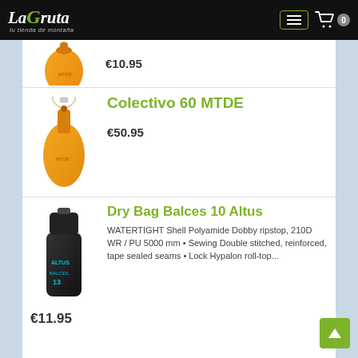La Gruta - tu tienda de montaña
[Figure (photo): Partial view of an orange dry bag product, top portion visible with price €10.95]
€10.95
Colectivo 60 MTDE
[Figure (photo): Orange collective dry bag MTDE product photo]
€50.95
Dry Bag Balces 10 Altus
[Figure (photo): Black dry bag Balces 10 Altus product photo]
WATERTIGHT Shell Polyamide Dobby ripstop, 210D WR / PU 5000 mm • Sewing Double stitched, reinforced, tape sealed seams • Lock Hypalon roll-top...
€11.95